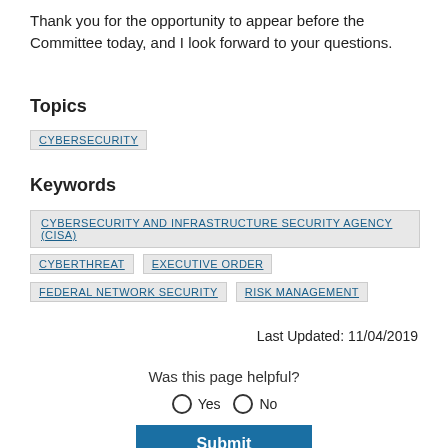Thank you for the opportunity to appear before the Committee today, and I look forward to your questions.
Topics
CYBERSECURITY
Keywords
CYBERSECURITY AND INFRASTRUCTURE SECURITY AGENCY (CISA)
CYBERTHREAT
EXECUTIVE ORDER
FEDERAL NETWORK SECURITY
RISK MANAGEMENT
Last Updated: 11/04/2019
Was this page helpful?
Yes   No
Submit